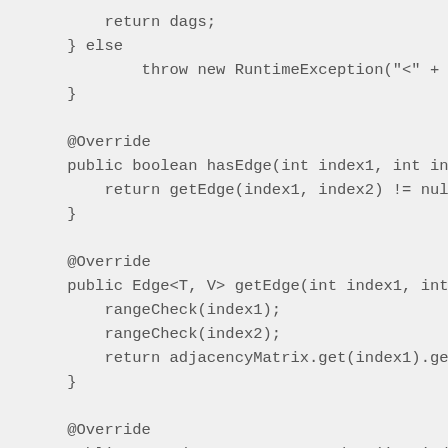return dags;
} else
    throw new RuntimeException("<" + in
}

@Override
public boolean hasEdge(int index1, int inde
    return getEdge(index1, index2) != null;
}

@Override
public Edge<T, V> getEdge(int index1, int i
    rangeCheck(index1);
    rangeCheck(index2);
    return adjacencyMatrix.get(index1).get(
}

@Override
public Set<Edge<T, V>> getInEdges(int index
    rangeCheck(index);